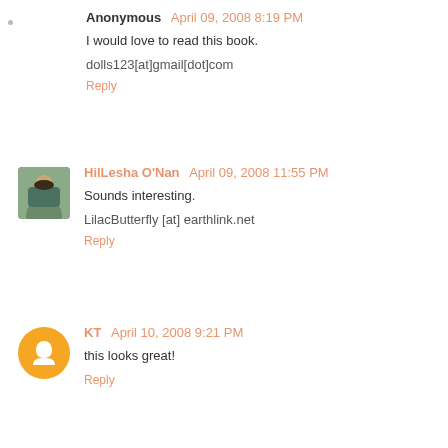Anonymous April 09, 2008 8:19 PM
I would love to read this book.

dolls123[at]gmail[dot]com
Reply
HilLesha O'Nan April 09, 2008 11:55 PM
Sounds interesting.

LilacButterfly [at] earthlink.net
Reply
KT April 10, 2008 9:21 PM
this looks great!
Reply